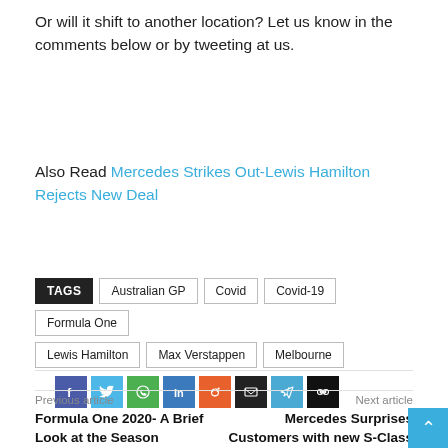Or will it shift to another location? Let us know in the comments below or by tweeting at us.
Also Read Mercedes Strikes Out-Lewis Hamilton Rejects New Deal
TAGS: Australian GP, Covid, Covid-19, Formula One, Lewis Hamilton, Max Verstappen, Melbourne
[Figure (infographic): Social sharing icons: Facebook, Twitter, WhatsApp, LinkedIn, Reddit, Email, Telegram, Link]
Previous article
Formula One 2020- A Brief Look at the Season
Next article
Mercedes Surprises Customers with new S-Class Maestro Edition, Priced at Rs